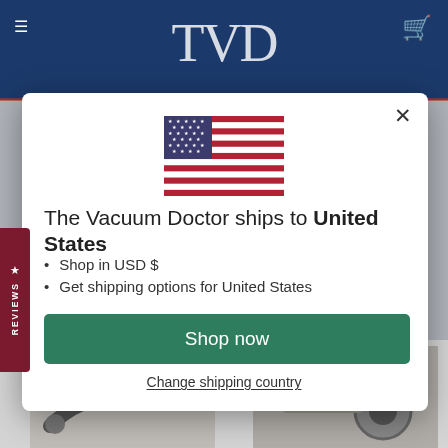[Figure (screenshot): Website header with dark navy blue background showing TVD logo and navigation icons (hamburger menu on left, cart icon on right)]
[Figure (screenshot): Reviews sidebar tab in dark red/maroon with star icon and vertical REVIEWS text]
[Figure (screenshot): Modal popup with US flag, shipping information for United States, Shop now button, and Change shipping country link]
The Vacuum Doctor ships to United States
Shop in USD $
Get shipping options for United States
Shop now
Change shipping country
[Figure (photo): Two product images at bottom showing vacuum cleaner parts/accessories]